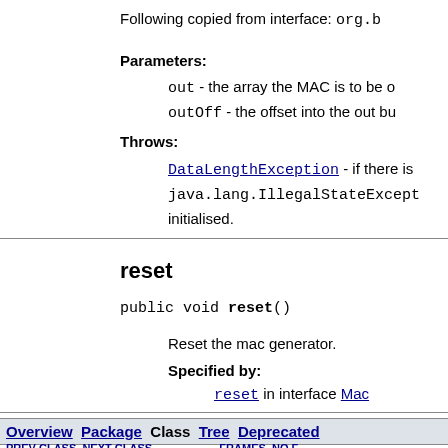Following copied from interface: org.b
Parameters:
out - the array the MAC is to be o
outOff - the offset into the out bu
Throws:
DataLengthException - if there is
java.lang.IllegalStateExcept initialised.
reset
public void reset()
Reset the mac generator.
Specified by:
reset in interface Mac
Overview Package Class Tree Deprecated | PREV CLASS NEXT CLASS FRAMES NO | SUMMARY: INNER | FIELD | CONSTR | METHOD DETAIL: FIELD